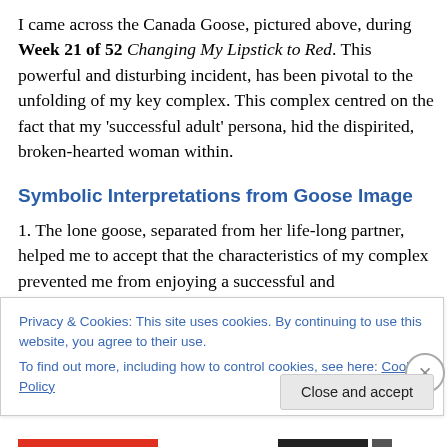I came across the Canada Goose, pictured above, during Week 21 of 52 Changing My Lipstick to Red. This powerful and disturbing incident, has been pivotal to the unfolding of my key complex. This complex centred on the fact that my 'successful adult' persona, hid the dispirited, broken-hearted woman within.
Symbolic Interpretations from Goose Image
1. The lone goose, separated from her life-long partner, helped me to accept that the characteristics of my complex prevented me from enjoying a successful and
Privacy & Cookies: This site uses cookies. By continuing to use this website, you agree to their use.
To find out more, including how to control cookies, see here: Cookie Policy
Close and accept